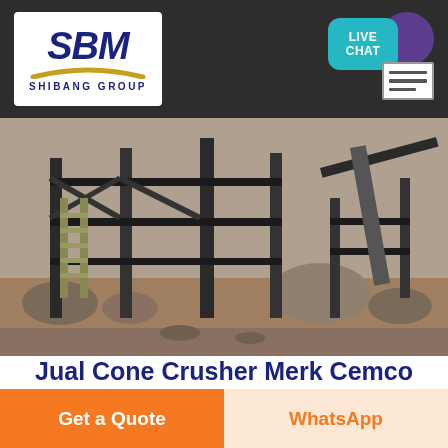[Figure (logo): SBM Shibang Group logo — white background, blue bold italic SBM text with gold arc swoosh, SHIBANG GROUP text below]
[Figure (other): Live Chat button with teal speech bubble, purple circle, and white chat icon box]
[Figure (photo): Industrial mining/crushing machinery on rocky terrain with metal scaffolding, stairs, and conveyor structures]
Jual Cone Crusher Merk Cemco Penzionslavkovsky
HARGA JUAL JAW CRUSHER MERK SANBO
Get a Quote
WhatsApp